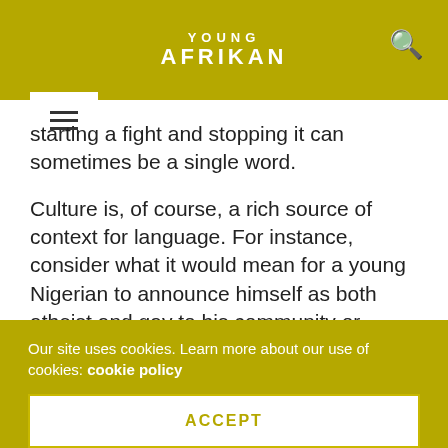YOUNG AFRIKAN
starting a fight and stopping it can sometimes be a single word.
Culture is, of course, a rich source of context for language. For instance, consider what it would mean for a young Nigerian to announce himself as both atheist and gay to his community or friends. Paraphrasing a colleague, these are perhaps two of the biggest sins that can either get you blacklisted or possibly killed. Why then do the chances of this significantly reduce when declared in certain other
Our site uses cookies. Learn more about our use of cookies: cookie policy
ACCEPT